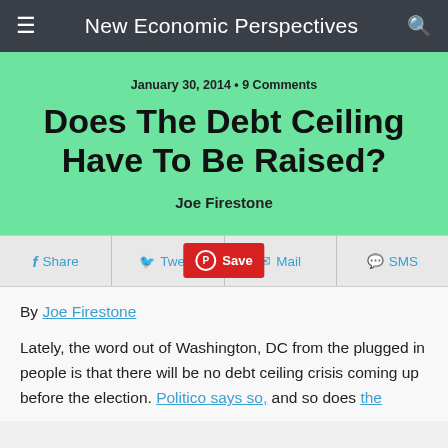New Economic Perspectives
January 30, 2014 • 9 Comments
Does The Debt Ceiling Have To Be Raised?
Joe Firestone
Share  Tweet  Save  Mail  SMS
By Joe Firestone
Lately, the word out of Washington, DC from the plugged in people is that there will be no debt ceiling crisis coming up before the election. Politico says so, and so does the